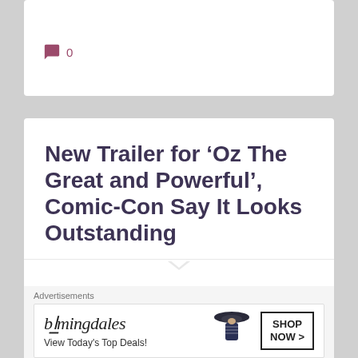0
New Trailer for ‘Oz The Great and Powerful’, Comic-Con Say It Looks Outstanding
(Written for Lost In The Multiplex)
The first trailer for Sam Raimi’s Oz: The Great and Powerful has been released this week, as The Disney panel at Comic-Con presented an exclusive promo.
Advertisements
[Figure (other): Bloomingdales advertisement banner showing logo, tagline 'View Today’s Top Deals!', a woman with a wide-brim hat, and a 'SHOP NOW >' button]